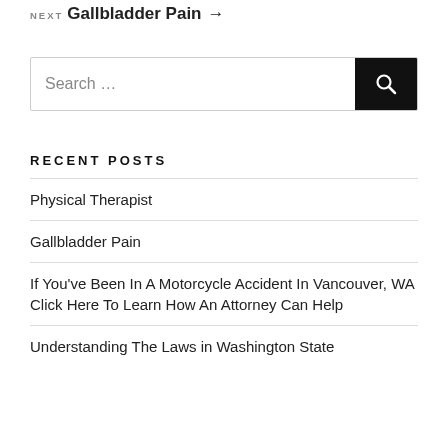NEXT
Gallbladder Pain →
[Figure (other): Search bar with text input field and black search button with magnifying glass icon]
RECENT POSTS
Physical Therapist
Gallbladder Pain
If You've Been In A Motorcycle Accident In Vancouver, WA Click Here To Learn How An Attorney Can Help
Understanding The Laws in Washington State